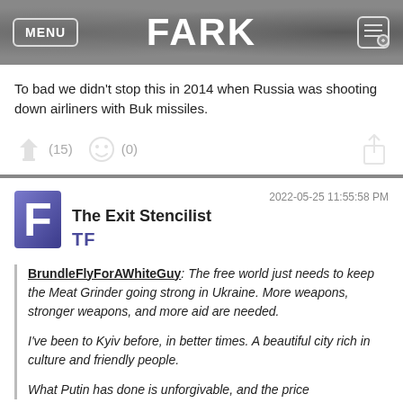FARK
To bad we didn't stop this in 2014 when Russia was shooting down airliners with Buk missiles.
(15) (0)
2022-05-25 11:55:58 PM
The Exit Stencilist TF
BrundleFlyForAWhiteGuy: The free world just needs to keep the Meat Grinder going strong in Ukraine. More weapons, stronger weapons, and more aid are needed.
I've been to Kyiv before, in better times. A beautiful city rich in culture and friendly people.
What Putin has done is unforgivable, and the price...